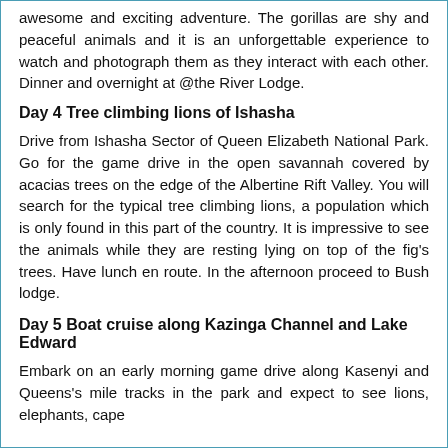awesome and exciting adventure. The gorillas are shy and peaceful animals and it is an unforgettable experience to watch and photograph them as they interact with each other. Dinner and overnight at @the River Lodge.
Day 4 Tree climbing lions of Ishasha
Drive from Ishasha Sector of Queen Elizabeth National Park. Go for the game drive in the open savannah covered by acacias trees on the edge of the Albertine Rift Valley. You will search for the typical tree climbing lions, a population which is only found in this part of the country. It is impressive to see the animals while they are resting lying on top of the fig's trees. Have lunch en route. In the afternoon proceed to Bush lodge.
Day 5 Boat cruise along Kazinga Channel and Lake Edward
Embark on an early morning game drive along Kasenyi and Queens's mile tracks in the park and expect to see lions, elephants, cape